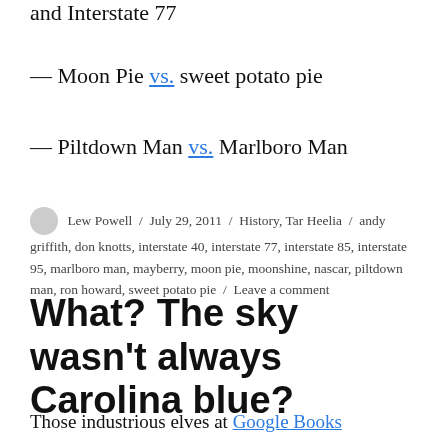and Interstate 77 (clipped at top)
— Moon Pie vs. sweet potato pie
— Piltdown Man vs. Marlboro Man
Lew Powell / July 29, 2011 / History, Tar Heelia / andy griffith, don knotts, interstate 40, interstate 77, interstate 85, interstate 95, marlboro man, mayberry, moon pie, moonshine, nascar, piltdown man, ron howard, sweet potato pie / Leave a comment
What? The sky wasn't always Carolina blue?
Those industrious elves at Google Books Ngram Viewer...